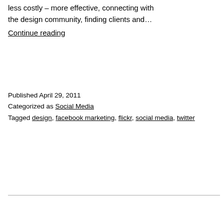less costly – more effective, connecting with the design community, finding clients and… Continue reading
Published April 29, 2011
Categorized as Social Media
Tagged design, facebook marketing, flickr, social media, twitter